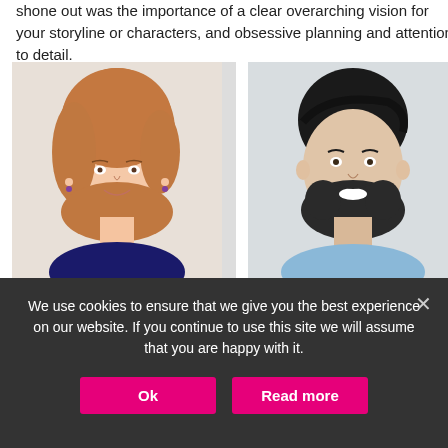shone out was the importance of a clear overarching vision for your storyline or characters, and obsessive planning and attention to detail.
[Figure (photo): Headshot of Lucy Gill, a woman with reddish-blonde hair, smiling, wearing a dark top, against a light background.]
HOST/MODERATOR
Lucy Gill
[Figure (photo): Headshot of a man with dark hair and beard, smiling, wearing a light blue shirt, against a light background.]
SPEAKER
Adara Clark
We use cookies to ensure that we give you the best experience on our website. If you continue to use this site we will assume that you are happy with it.